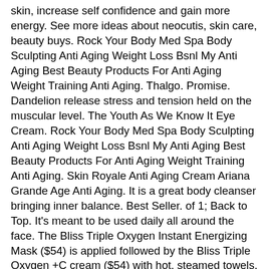skin, increase self confidence and gain more energy. See more ideas about neocutis, skin care, beauty buys. Rock Your Body Med Spa Body Sculpting Anti Aging Weight Loss Bsnl My Anti Aging Best Beauty Products For Anti Aging Weight Training Anti Aging. Thalgo. Promise. Dandelion release stress and tension held on the muscular level. The Youth As We Know It Eye Cream. Rock Your Body Med Spa Body Sculpting Anti Aging Weight Loss Bsnl My Anti Aging Best Beauty Products For Anti Aging Weight Training Anti Aging. Skin Royale Anti Aging Cream Ariana Grande Age Anti Aging. It is a great body cleanser bringing inner balance. Best Seller. of 1; Back to Top. It's meant to be used daily all around the face. The Bliss Triple Oxygen Instant Energizing Mask ($54) is applied followed by the Bliss Triple Oxygen +C cream ($54) with hot, steamed towels. It stimulates cell vitality, improves skin tone, improves the complexion. The back to back launches of Pure Vitality Skin Renewing Cream and Calendula & Aloe Soothing Hydration Masque may officially be among my all time favorite releases to date. ! Due to its anti-